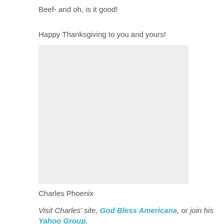Beef- and oh, is it good!
Happy Thanksgiving to you and yours!
[Figure (photo): Light gray rectangular placeholder image]
Charles Phoenix
Visit Charles' site, God Bless Americana, or join his Yahoo Group.